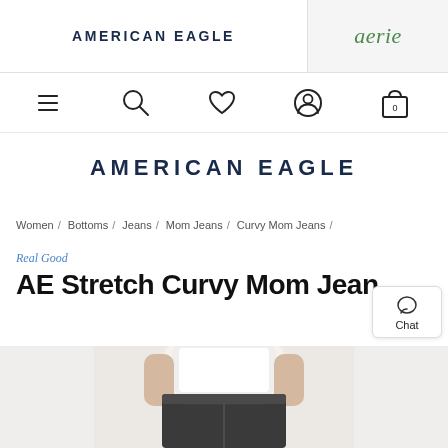AMERICAN EAGLE | aerie
[Figure (screenshot): Navigation icons row: hamburger menu, search magnifier, heart/wishlist, user/account circle, shopping bag with 0]
AMERICAN EAGLE
Women / Bottoms / Jeans / Mom Jeans / Curvy Mom Jeans /
Real Good
AE Stretch Curvy Mom Jean
[Figure (photo): Partial photo of a female model wearing a white top and dark grey/black stretch mom jeans, cropped to show torso and upper legs]